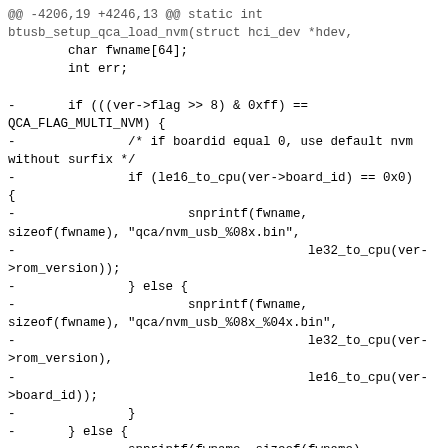[Figure (screenshot): A code diff snippet showing changes to btusb_setup_qca_load_nvm function in a C source file. Lines prefixed with '-' are removed (shown in red in a real diff viewer), lines prefixed with '+' are added (shown in green). The diff hunk header shows @@ -4206,19 +4246,13 @@ static int. The removed lines handle multi-NVM firmware selection based on board_id, using snprintf with qca/nvm_usb_%08x.bin or qca/nvm_usb_%08x_%04x.bin format strings. The added lines start a switch statement on ver->ram_version with case WCN6855_2_0_RAM_VERSION_GF.]